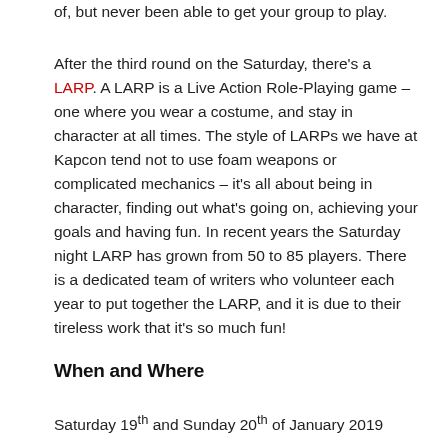of, but never been able to get your group to play.
After the third round on the Saturday, there's a LARP. A LARP is a Live Action Role-Playing game – one where you wear a costume, and stay in character at all times. The style of LARPs we have at Kapcon tend not to use foam weapons or complicated mechanics – it's all about being in character, finding out what's going on, achieving your goals and having fun. In recent years the Saturday night LARP has grown from 50 to 85 players. There is a dedicated team of writers who volunteer each year to put together the LARP, and it is due to their tireless work that it's so much fun!
When and Where
Saturday 19th and Sunday 20th of January 2019